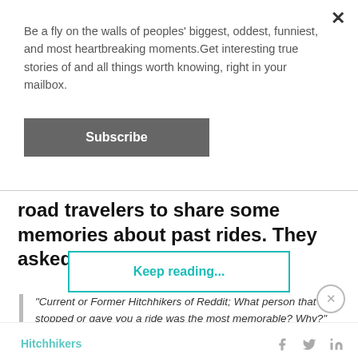Be a fly on the walls of peoples' biggest, oddest, funniest, and most heartbreaking moments.Get interesting true stories of and all things worth knowing, right in your mailbox.
Subscribe
road travelers to share some memories about past rides. They asked:
"Current or Former Hitchhikers of Reddit; What person that stopped or gave you a ride was the most memorable? Why?"
Keep reading...
Hitchhikers